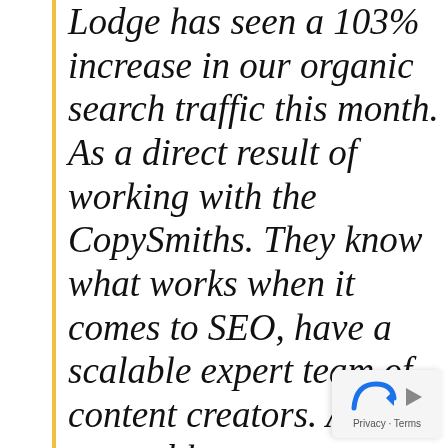Lodge has seen a 103% increase in our organic search traffic this month. As a direct result of working with the CopySmiths. They know what works when it comes to SEO, have a scalable expert team of content creators. And were able to execute on tactical SEO campaigns. have no hesitation in